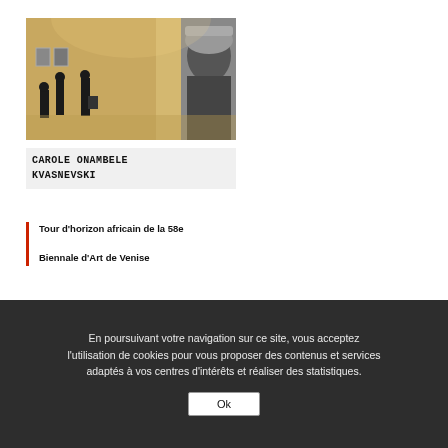[Figure (photo): Art gallery interior with silhouettes of visitors and a large black-and-white portrait artwork on the wall]
CAROLE ONAMBELE KVASNEVSKI
Tour d'horizon africain de la 58e Biennale d'Art de Venise
[Figure (photo): Group of people seated/standing together at an event, smiling, diverse crowd]
En poursuivant votre navigation sur ce site, vous acceptez l'utilisation de cookies pour vous proposer des contenus et services adaptés à vos centres d'intérêts et réaliser des statistiques.